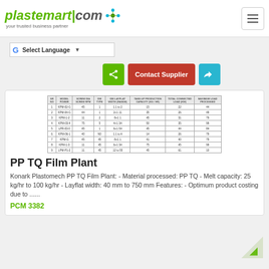[Figure (logo): plastemart.com logo with tagline 'your trusted business partner' and decorative node graphic]
plastemart.com — your trusted business partner
Select Language
[Figure (screenshot): Table showing PP TQ Film Plant specifications with columns for model, power, screw diameter, die type, die layflat width, take-up production capacity, total connected load, and maximum load processed]
PP TQ Film Plant
Konark Plastomech PP TQ Film Plant: - Material processed: PP TQ - Melt capacity: 25 kg/hr to 100 kg/hr - Layflat width: 40 mm to 750 mm Features: - Optimum product costing due to ......
PCM 3382